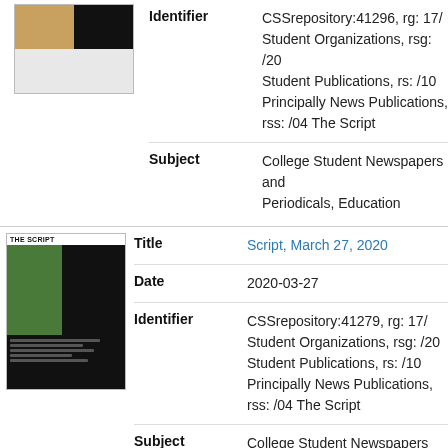[Figure (photo): Thumbnail image of a newspaper page with color blocks (tan and black)]
Identifier: CSSrepository:41296, rg: 17/ Student Organizations, rsg: /20 Student Publications, rs: /10 Principally News Publications, rss: /04 The Script
Subject: College Student Newspapers and Periodicals, Education
[Figure (photo): Thumbnail image of 'The Script' newspaper cover dated March 27, 2020]
Title: Script, March 27, 2020
Date: 2020-03-27
Identifier: CSSrepository:41279, rg: 17/ Student Organizations, rsg: /20 Student Publications, rs: /10 Principally News Publications, rss: /04 The Script
Subject: College Student Newspapers and